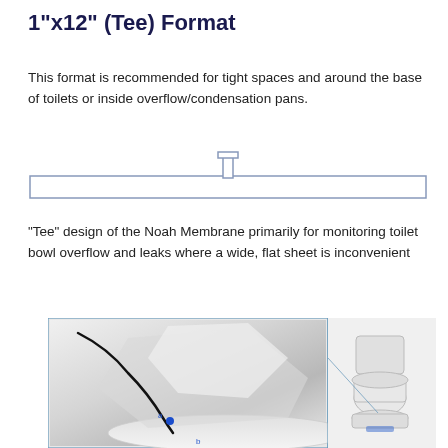1"x12" (Tee) Format
This format is recommended for tight spaces and around the base of toilets or inside overflow/condensation pans.
[Figure (schematic): Top-view schematic of a 1 inch by 12 inch Tee-format Noah Membrane sensor, showing a long flat horizontal strip with a small raised tee connector in the center top.]
“Tee” design of the Noah Membrane primarily for monitoring toilet bowl overflow and leaks where a wide, flat sheet is inconvenient
[Figure (photo): Photo showing the Tee-format membrane sensor placed at the base of a toilet bowl. Left panel shows close-up of the sensor (labeled a and b) at the base. Right panel shows a wider view of a toilet with the sensor installed.]